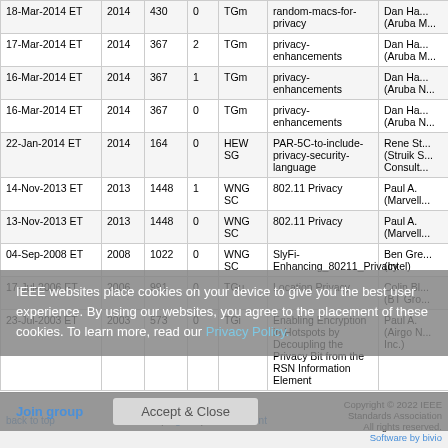| Date | Year | Doc# | # | Grp | Title | Author |
| --- | --- | --- | --- | --- | --- | --- |
| 18-Mar-2014 ET | 2014 | 430 | 0 | TGm | random-macs-for-privacy | Dan Ha... (Aruba M... |
| 17-Mar-2014 ET | 2014 | 367 | 2 | TGm | privacy-enhancements | Dan Ha... (Aruba M... |
| 16-Mar-2014 ET | 2014 | 367 | 1 | TGm | privacy-enhancements | Dan Ha... (Aruba N... |
| 16-Mar-2014 ET | 2014 | 367 | 0 | TGm | privacy-enhancements | Dan Ha... (Aruba N... |
| 22-Jan-2014 ET | 2014 | 164 | 0 | HEW SG | PAR-5C-to-include-privacy-security-language | Rene St... (Struik S... Consult... |
| 14-Nov-2013 ET | 2013 | 1448 | 1 | WNG SC | 802.11 Privacy | Paul A. (Marvell... |
| 13-Nov-2013 ET | 2013 | 1448 | 0 | WNG SC | 802.11 Privacy | Paul A. (Marvell... |
| 04-Sep-2008 ET | 2008 | 1022 | 0 | WNG SC | SlyFi-Enhancing_80211_Privacy | Ben Gre... (Intel) |
| 17-Jul-2006 ET | 2006 | 991 | 0 | TGu | Location Privacy | Colin Bl... (BT Gro... |
| 23-Jul-2003 ET | 2003 | 573 | 0 | TGi | Enabling Encryption in Hotspots by Decoupling the Privacy Bit from the RSN Information Element | Paul A. (Airgo N... Inc.) |
IEEE websites place cookies on your device to give you the best user experience. By using our websites, you agree to the placement of these cookies. To learn more, read our Privacy Policy.
Join group
Accept & Close
back to top | Home | Sign In | IEEE Account | Copyright © 2022 IEEE Standards Association All rights reserved. Software by bivio